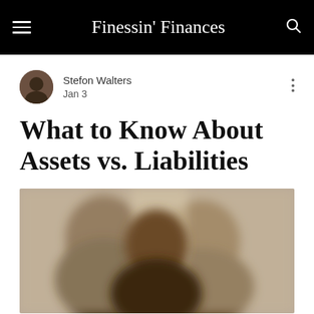Finessin' Finances
Stefon Walters
Jan 3
What to Know About Assets vs. Liabilities
[Figure (photo): Blurred photograph of a person, used as article header image]